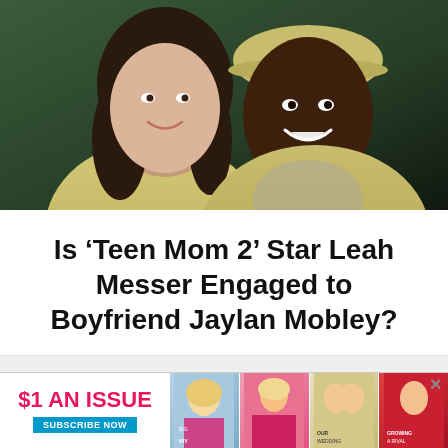[Figure (photo): Selfie photo of a couple — a woman with long dark hair in a tan/yellow jacket on the left, and a man wearing a tan cap and matching jacket on the right, both smiling. Dark green background.]
Is ‘Teen Mom 2’ Star Leah Messer Engaged to Boyfriend Jaylan Mobley?
[Figure (photo): Advertisement banner for a magazine subscription: '$1 AN ISSUE' with 'SUBSCRIBE NOW' button and collage of magazine covers on the right, with an X close button.]